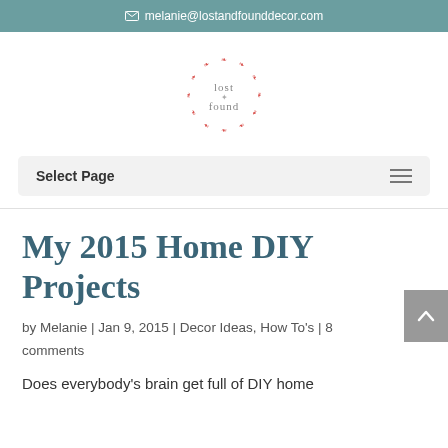melanie@lostandfounddecor.com
[Figure (logo): Lost and Found Decor circular logo in red/coral with leaf border]
Select Page
My 2015 Home DIY Projects
by Melanie | Jan 9, 2015 | Decor Ideas, How To's | 8 comments
Does everybody's brain get full of DIY home